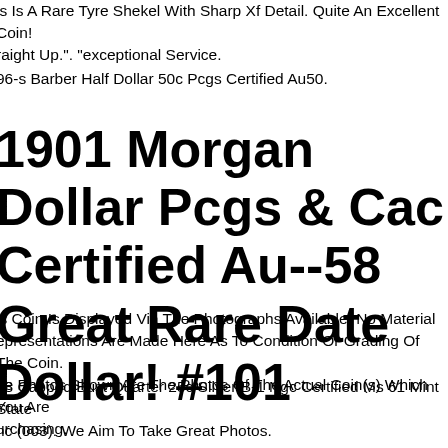is Is A Rare Tyre Shekel With Sharp Xf Detail. Quite An Excellent Coin! raight Up.". "exceptional Service.
96-s Barber Half Dollar 50c Pcgs Certified Au50.
1901 Morgan Dollar Pcgs & Cac Certified Au--58 Great Rare Date Dollar! #101
is Coin Is Displayed Via The Photographs Available. No Material epresentations Are Made Here As To Condition Or Grading Of The Coin. he Photos Shown Are The Photos Of The Actual Coin(s) Which You Are urchasing.
38 Capped Bust Quarter 25c Silver B-1 Ngc Certified Ms 61 Mint State nc (003). We Aim To Take Great Photos.
06 Draped Bust Quarter 25c Coin - Certified Ngc Xf Details (ef) - Rare ate!. It Has Strong Xf45 Details. Quite An Impressive Classic Coin, Now ll Over 200 Years Old. Indian Gold Quarter Eagle, An Exceptional Coin With